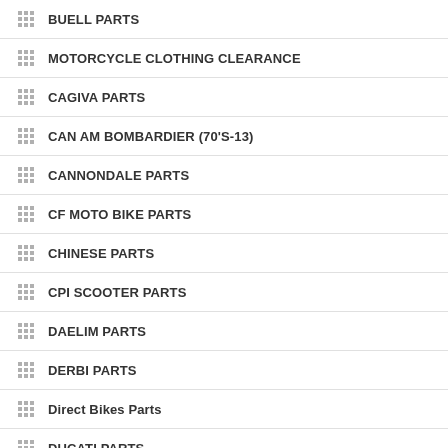BUELL PARTS
MOTORCYCLE CLOTHING CLEARANCE
CAGIVA PARTS
CAN AM BOMBARDIER (70'S-13)
CANNONDALE PARTS
CF MOTO BIKE PARTS
CHINESE PARTS
CPI SCOOTER PARTS
DAELIM PARTS
DERBI PARTS
Direct Bikes Parts
DUCATI PARTS